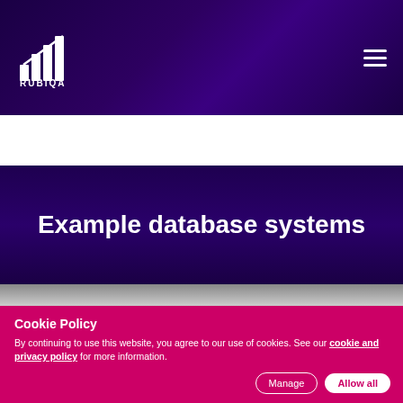[Figure (logo): RUBIQA logo with bar chart icon and text 'RUBIQA' in white on dark purple header background]
Example database systems
Cookie Policy
By continuing to use this website, you agree to our use of cookies. See our cookie and privacy policy for more information.